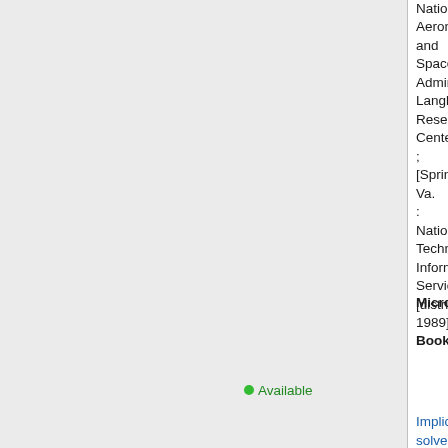National Aeronautics and Space Administration, Langley Research Center ; [Springfield, Va. : National Technical Information Service [distributor], 1989]
Microform,
Book
Available
Implicit solvers for